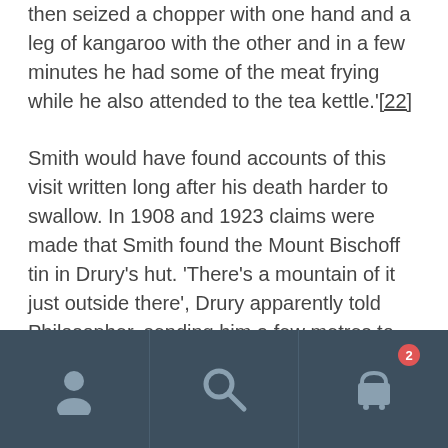then seized a chopper with one hand and a leg of kangaroo with the other and in a few minutes he had some of the meat frying while he also attended to the tea kettle.'[22]
Smith would have found accounts of this visit written long after his death harder to swallow. In 1908 and 1923 claims were made that Smith found the Mount Bischoff tin in Drury's hut. 'There's a mountain of it just outside there', Drury apparently told Philosopher, sending him a few metres to the summit of the mountain.[23] Why anyone who had been at Waratah in its early days, when Mount Bischoff was accessed via a tunnel
[Figure (other): Mobile app navigation bar with three icons: user/profile icon, search icon, and shopping cart icon with badge showing number 2]